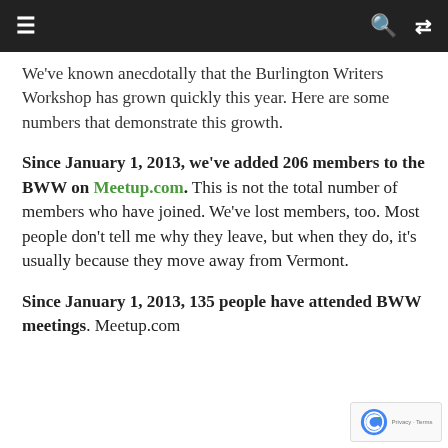≡  🔍  ⇌
We've known anecdotally that the Burlington Writers Workshop has grown quickly this year. Here are some numbers that demonstrate this growth.
Since January 1, 2013, we've added 206 members to the BWW on Meetup.com. This is not the total number of members who have joined. We've lost members, too. Most people don't tell me why they leave, but when they do, it's usually because they move away from Vermont.
Since January 1, 2013, 135 people have attended BWW meetings. Meetup.com claims 150 people have attended, but our tiers is